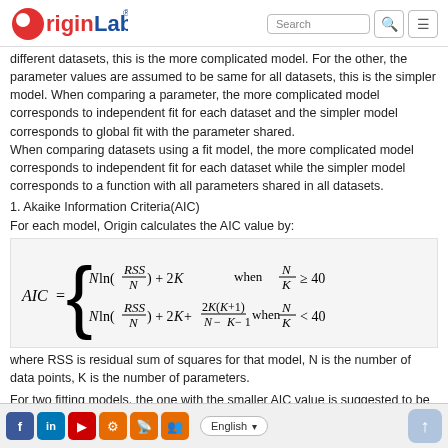OriginLab [logo] Search [search icon] [menu icon]
different datasets, this is the more complicated model. For the other, the parameter values are assumed to be same for all datasets, this is the simpler model. When comparing a parameter, the more complicated model corresponds to independent fit for each dataset and the simpler model corresponds to global fit with the parameter shared.
When comparing datasets using a fit model, the more complicated model corresponds to independent fit for each dataset while the simpler model corresponds to a function with all parameters shared in all datasets.
1. Akaike Information Criteria(AIC)
For each model, Origin calculates the AIC value by:
where RSS is residual sum of squares for that model, N is the number of data points, K is the number of parameters.
For two fitting models, the one with the smaller AIC value is suggested to be a better model for the datasets, and then we can determine whether parameter values to be compared are same.
We can also make decisions based on the Akaike's weight value, which can
Facebook LinkedIn YouTube Settings RSS Groups | English ▾ | ↑